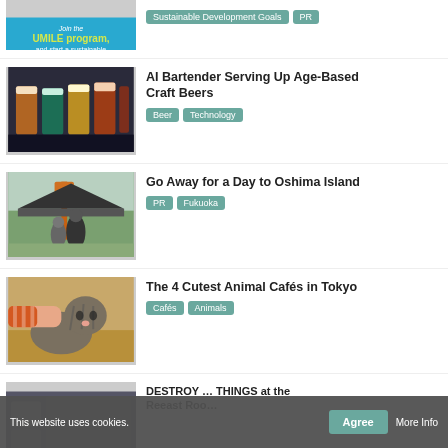[Figure (screenshot): Partial article thumbnail: UMILE program sustainable eco-friendly shopping ad on cyan background]
Sustainable Development Goals  PR
[Figure (photo): Four glasses of craft beer in various colors on a bar]
AI Bartender Serving Up Age-Based Craft Beers
Beer  Technology
[Figure (photo): Two people at a Japanese shrine/garden with an orange lantern]
Go Away for a Day to Oshima Island
PR  Fukuoka
[Figure (photo): A tabby cat being petted by a hand with an orange striped sleeve in an animal café]
The 4 Cutest Animal Cafés in Tokyo
Cafés  Animals
[Figure (photo): Partially visible article thumbnail at bottom]
DESTROY … THINGS at the Reeast Roo…
This website uses cookies.  Agree  More Info